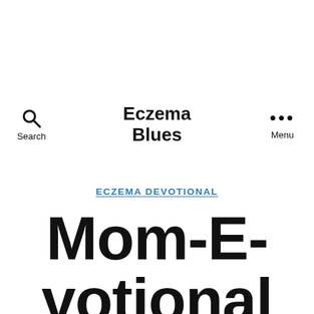Search  Eczema Blues  Menu
ECZEMA DEVOTIONAL
Mom-E-votional : New